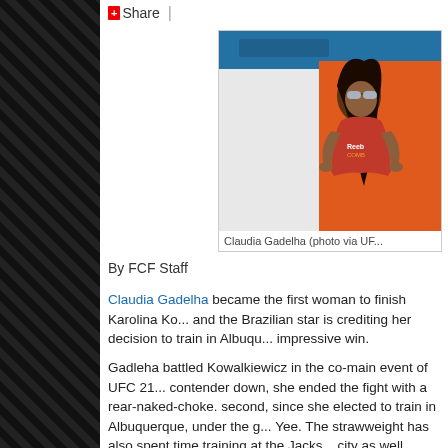+ Share |
[Figure (photo): Claudia Gadelha standing in front of an orange background wearing a red Reebok Combat tank top and sunglasses, with long dark hair. Caption: Claudia Gadelha (photo via UF...]
Claudia Gadelha (photo via UF...
By FCF Staff
Claudia Gadelha became the first woman to finish Karolina Ko... and the Brazilian star is crediting her decision to train in Albuqu... impressive win.
Gadleha battled Kowalkiewicz in the co-main event of UFC 21... contender down, she ended the fight with a rear-naked-choke. second, since she elected to train in Albuquerque, under the g... Yee. The strawweight has also spent time training at the Jacks... city as well.